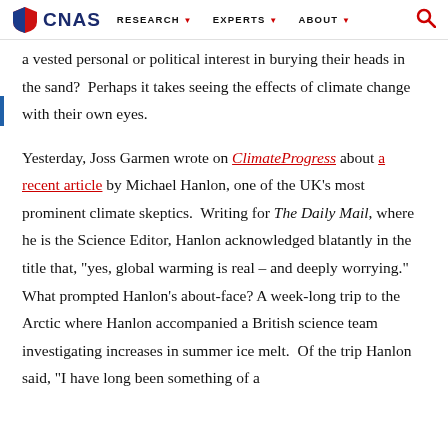CNAS | RESEARCH | EXPERTS | ABOUT
a vested personal or political interest in burying their heads in the sand?  Perhaps it takes seeing the effects of climate change with their own eyes.
Yesterday, Joss Garmen wrote on ClimateProgress about a recent article by Michael Hanlon, one of the UK’s most prominent climate skeptics.  Writing for The Daily Mail, where he is the Science Editor, Hanlon acknowledged blatantly in the title that, “yes, global warming is real – and deeply worrying.”  What prompted Hanlon’s about-face? A week-long trip to the Arctic where Hanlon accompanied a British science team investigating increases in summer ice melt.  Of the trip Hanlon said, “I have long been something of a